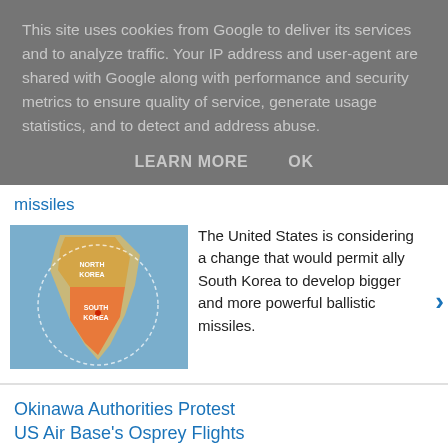This site uses cookies from Google to deliver its services and to analyze traffic. Your IP address and user-agent are shared with Google along with performance and security metrics to ensure quality of service, generate usage statistics, and to detect and address abuse.
LEARN MORE   OK
missiles
[Figure (map): Map showing North Korea and South Korea with a circular radius overlay]
The United States is considering a change that would permit ally South Korea to develop bigger and more powerful ballistic missiles.
Okinawa Authorities Protest US Air Base's Osprey Flights After Deadly Crash
[Figure (photo): Photo of an Osprey military aircraft on the ground]
Authorities of Japan's Okinawa Prefecture, where US air and military bases are located, voiced their objections to the United States over...